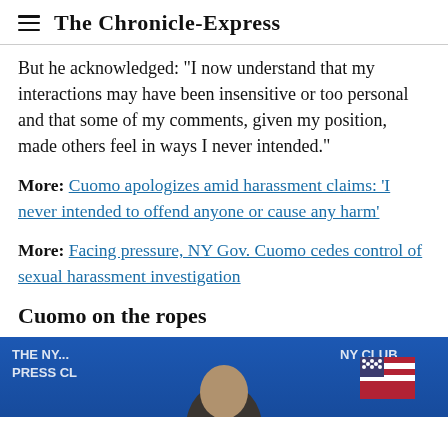The Chronicle-Express
But he acknowledged: "I now understand that my interactions may have been insensitive or too personal and that some of my comments, given my position, made others feel in ways I never intended."
More: Cuomo apologizes amid harassment claims: 'I never intended to offend anyone or cause any harm'
More: Facing pressure, NY Gov. Cuomo cedes control of sexual harassment investigation
Cuomo on the ropes
[Figure (photo): Photo of a man at a press club event with a blue background and an American flag, partially visible at the bottom of the page.]